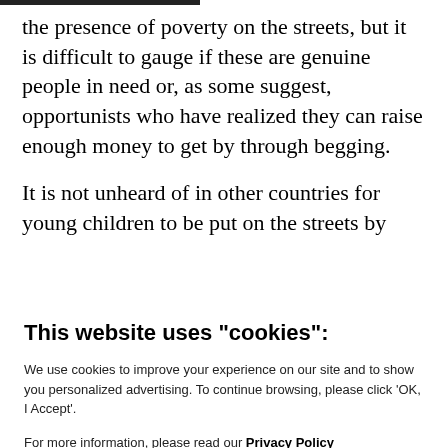the presence of poverty on the streets, but it is difficult to gauge if these are genuine people in need or, as some suggest, opportunists who have realized they can raise enough money to get by through begging.
It is not unheard of in other countries for young children to be put on the streets by
This website uses "cookies":
We use cookies to improve your experience on our site and to show you personalized advertising. To continue browsing, please click ‘OK, I Accept’.
For more information, please read our Privacy Policy
Ok, I Accept